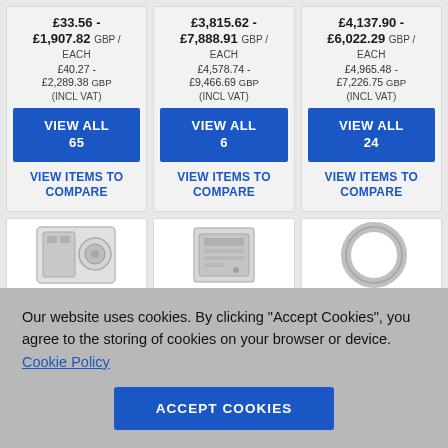£33.56 - £1,907.82 GBP / EACH
£40.27 - £2,289.38 GBP (INCL VAT)
VIEW ALL 65
VIEW ITEMS TO COMPARE
£3,815.62 - £7,888.91 GBP / EACH
£4,578.74 - £9,466.69 GBP (INCL VAT)
VIEW ALL 6
VIEW ITEMS TO COMPARE
£4,137.90 - £6,022.29 GBP / EACH
£4,965.48 - £7,226.75 GBP (INCL VAT)
VIEW ALL 24
VIEW ITEMS TO COMPARE
[Figure (photo): Product image - washing machine or similar appliance]
[Figure (photo): Product image - cabinet or similar appliance]
[Figure (photo): Product image - circular component or ring]
Our website uses cookies. By clicking "Accept Cookies", you agree to the storing of cookies on your browser or device. Cookie Policy
ACCEPT COOKIES